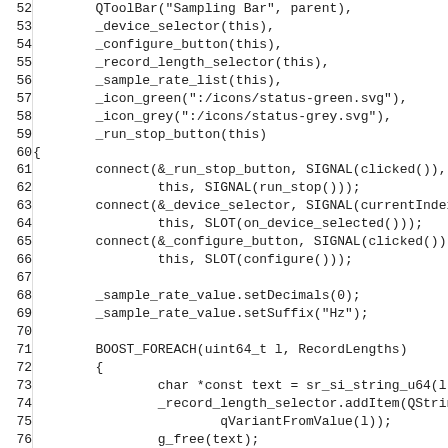[Figure (screenshot): Source code listing in C++ showing lines 52-83 of a SamplingBar constructor and initialization code, including QToolBar setup, signal/slot connections, sample rate configuration, BOOST_FOREACH loop, and button icon setup.]